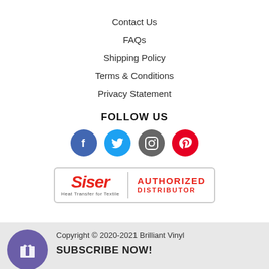Contact Us
FAQs
Shipping Policy
Terms & Conditions
Privacy Statement
FOLLOW US
[Figure (other): Social media icons: Facebook, Twitter, Instagram, Pinterest]
[Figure (logo): Siser Authorized Distributor badge]
Copyright © 2020-2021 Brilliant Vinyl
SUBSCRIBE NOW!